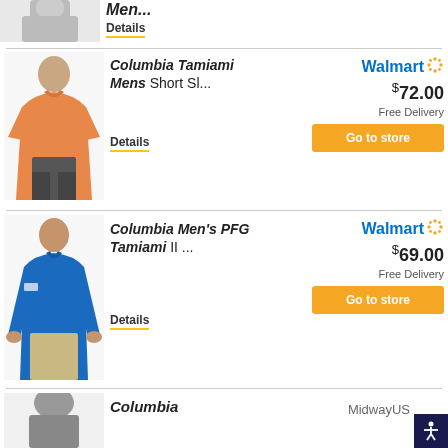[Figure (photo): Partial view of a man wearing a shirt, cropped at top]
Men...
Details
[Figure (photo): Man wearing orange Columbia short sleeve shirt]
Columbia Tamiami Mens Short Sl...
Details
Walmart $72.00 Free Delivery Go to store
[Figure (photo): Man wearing blue Columbia long sleeve shirt]
Columbia Men's PFG Tamiami II ...
Details
Walmart $69.00 Free Delivery Go to store
[Figure (photo): Partial view of a person, bottom of page]
Columbia
MidwayUS